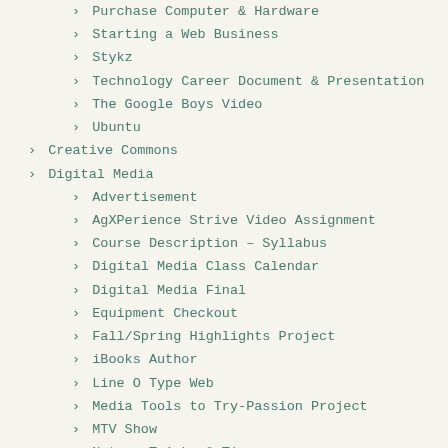› Purchase Computer & Hardware
› Starting a Web Business
› Stykz
› Technology Career Document & Presentation
› The Google Boys Video
› Ubuntu
› Creative Commons
› Digital Media
› Advertisement
› AgXPerience Strive Video Assignment
› Course Description – Syllabus
› Digital Media Class Calendar
› Digital Media Final
› Equipment Checkout
› Fall/Spring Highlights Project
› iBooks Author
› Line O Type Web
› Media Tools to Try-Passion Project
› MTV Show
› Notes, Tricks & Tips
› Pod Casting / Screen Casting
› Rules of Thirds
› Snowfall-NY Times
› Stop Motion Project
› Team Project Schedule